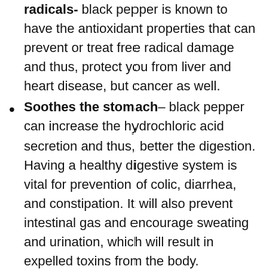radicals- black pepper is known to have the antioxidant properties that can prevent or treat free radical damage and thus, protect you from liver and heart disease, but cancer as well.
Soothes the stomach– black pepper can increase the hydrochloric acid secretion and thus, better the digestion. Having a healthy digestive system is vital for prevention of colic, diarrhea, and constipation. It will also prevent intestinal gas and encourage sweating and urination, which will result in expelled toxins from the body.
Benefits the neurological health– one of the main compounds of black pepper, piperine, can lower cognitive malfunction